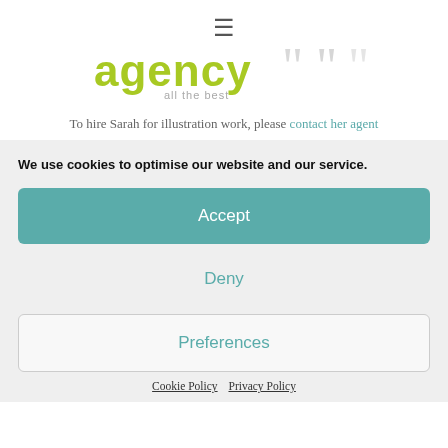[Figure (logo): Hamburger menu icon (three horizontal lines) at top center]
[Figure (logo): Agency logo with 'agency' in yellow-green text, 'all the best' subtitle, and decorative quotation mark shapes]
To hire Sarah for illustration work, please contact her agent
We use cookies to optimise our website and our service.
Accept
Deny
Preferences
Cookie Policy   Privacy Policy